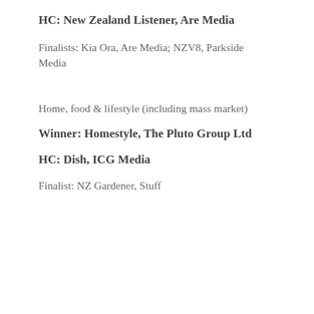HC: New Zealand Listener, Are Media
Finalists: Kia Ora, Are Media; NZV8, Parkside Media
Home, food & lifestyle (including mass market)
Winner: Homestyle, The Pluto Group Ltd
HC: Dish, ICG Media
Finalist: NZ Gardener, Stuff